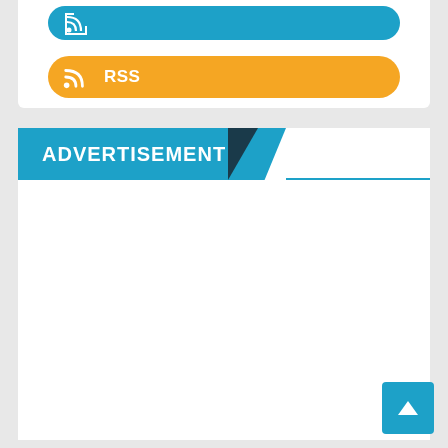[Figure (screenshot): Orange RSS feed subscription button with RSS icon and label 'RSS' on a white card background]
ADVERTISEMENT
[Figure (screenshot): Empty white advertisement placeholder area below the advertisement header banner]
[Figure (other): Blue back-to-top button with upward arrow in the bottom-right corner]